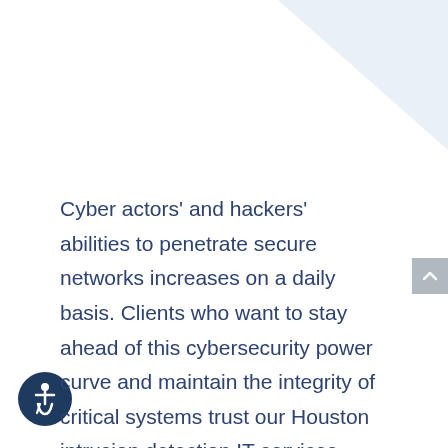Cyber actors' and hackers' abilities to penetrate secure networks increases on a daily basis. Clients who want to stay ahead of this cybersecurity power curve and maintain the integrity of critical systems trust our Houston intrusion detection IT services team at DYOPATH. Our award-winning cybersecurity specialists excel at the full range of security vulnerability